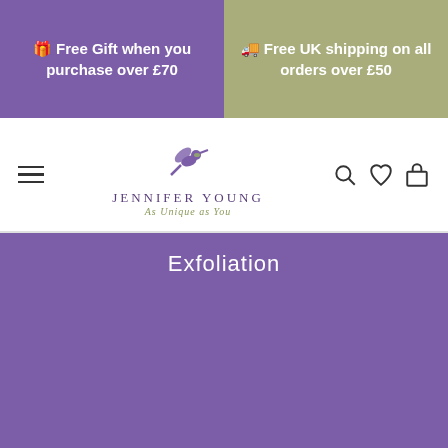🎁 Free Gift when you purchase over £70
🚚 Free UK shipping on all orders over £50
[Figure (logo): Jennifer Young logo with hummingbird, text 'JENNIFER YOUNG As Unique as You']
Exfoliation
[Figure (infographic): Payment method icons: American Express, Apple Pay, Diners Club, Discover, Google Pay, Maestro, Mastercard, Shop Pay, Visa]
Liquid error: Could not find asset snippets/icart-drawer.liquid